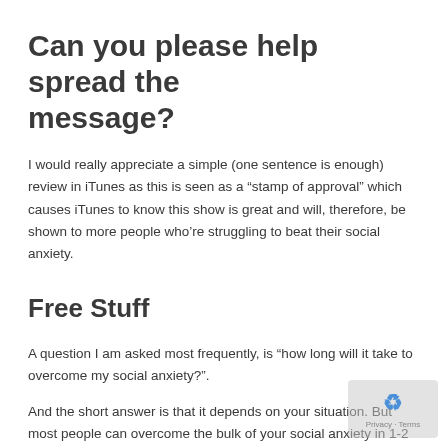Can you please help spread the message?
I would really appreciate a simple (one sentence is enough) review in iTunes as this is seen as a “stamp of approval” which causes iTunes to know this show is great and will, therefore, be shown to more people who’re struggling to beat their social anxiety.
Free Stuff
A question I am asked most frequently, is “how long will it take to overcome my social anxiety?”.
And the short answer is that it depends on your situation. But most people can overcome the bulk of your social anxiety in 1-2 months, investing about 30min of tapping on the right issues.